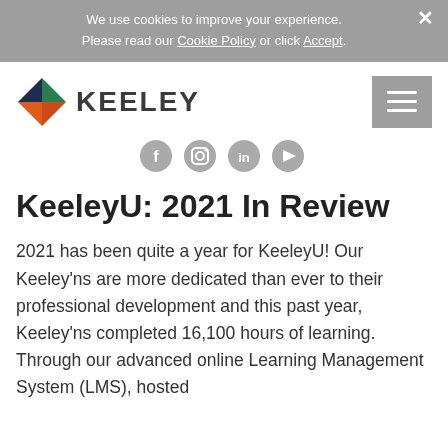We use cookies to improve your experience. Please read our Cookie Policy or click Accept.
[Figure (logo): Keeley company logo with colorful K symbol and KEELEY text in dark gray]
[Figure (illustration): Social media icons: Facebook, Instagram, LinkedIn, YouTube]
KeeleyU: 2021 In Review
2021 has been quite a year for KeeleyU! Our Keeley’ns are more dedicated than ever to their professional development and this past year, Keeley’ns completed 16,100 hours of learning. Through our advanced online Learning Management System (LMS), hosted